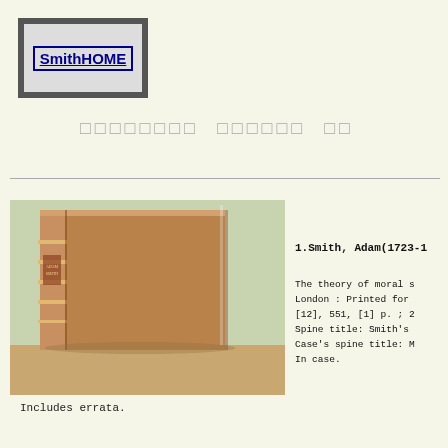[Figure (logo): SmithHOME logo in a dark bordered box with inner grey border and blue underlined text link]
□□□□□□□□  □□□□□□  □□
[Figure (photo): Photograph of an old leather-bound book standing upright, brown/tan color with spine details, on a wooden surface against a light green background]
Includes errata.
1.Smith, Adam(1723-1

The theory of moral s
London : Printed for
[12], 551, [1] p. ; 2
Spine title: Smith's
Case's spine title: M
In case.